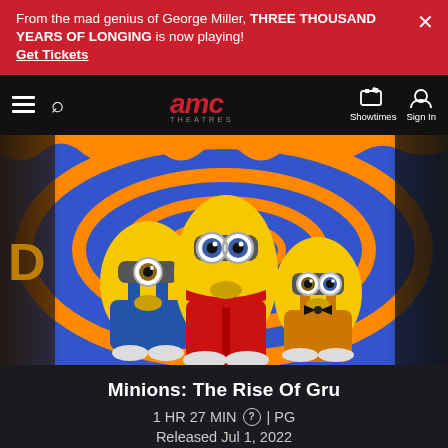From the mad genius of George Miller, THREE THOUSAND YEARS OF LONGING is now playing! Get Tickets
[Figure (screenshot): AMC Theatres website screenshot showing navigation bar with hamburger menu, search icon, AMC Theatres logo, Showtimes icon, and Sign In button]
[Figure (photo): Movie poster for Minions: The Rise Of Gru showing three Minion characters (Stuart, Gru as a minion, and Bob) against a psychedelic blue and orange swirling background]
Minions: The Rise Of Gru
1 HR 27 MIN ⓘ | PG
Released Jul 1, 2022